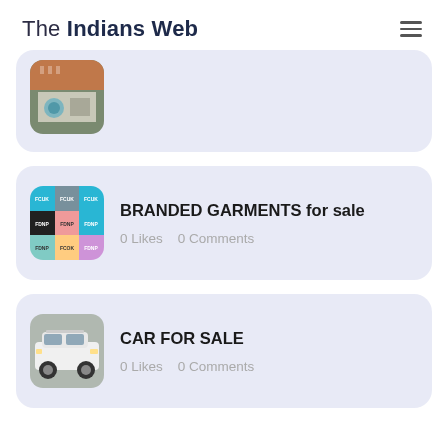The Indians Web
[Figure (screenshot): Partial card showing aerial view of building with swimming pool]
BRANDED GARMENTS for sale
0 Likes   0 Comments
CAR FOR SALE
0 Likes   0 Comments